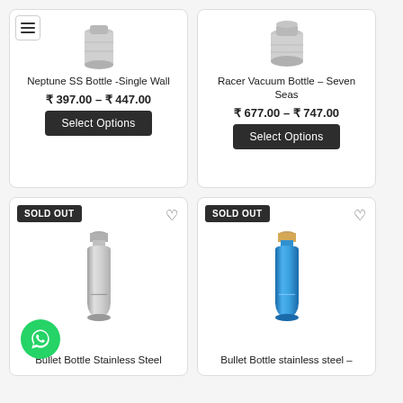[Figure (photo): Neptune SS Bottle - Single Wall product image (stainless steel bottle top view)]
Neptune SS Bottle -Single Wall
₹ 397.00 – ₹ 447.00
Select Options
[Figure (photo): Racer Vacuum Bottle – Seven Seas product image (stainless steel bottle top)]
Racer Vacuum Bottle – Seven Seas
₹ 677.00 – ₹ 747.00
Select Options
SOLD OUT
[Figure (photo): Bullet Bottle Stainless Steel product image (full silver stainless steel water bottle)]
Bullet Bottle Stainless Steel
SOLD OUT
[Figure (photo): Bullet Bottle stainless steel blue color product image]
Bullet Bottle stainless steel –